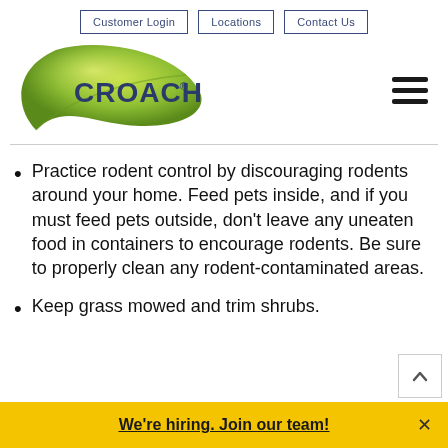Customer Login | Locations | Contact Us
[Figure (logo): Croach pest control logo — green leaf with CROACH text in navy blue]
Practice rodent control by discouraging rodents around your home. Feed pets inside, and if you must feed pets outside, don't leave any uneaten food in containers to encourage rodents. Be sure to properly clean any rodent-contaminated areas.
Keep grass mowed and trim shrubs.
We're hiring. Join our team!